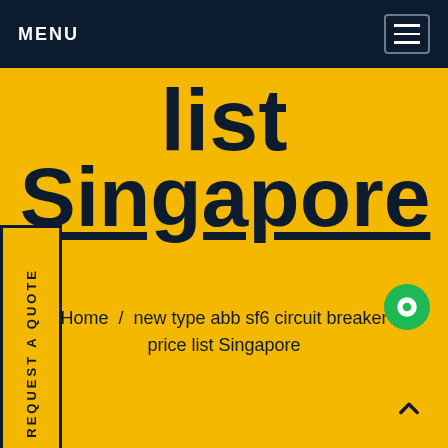MENU
list Singapore
Home / new type abb sf6 circuit breaker price list Singapore
[Figure (other): Vertical side tab with text 'REQUEST A QUOTE' rotated 90 degrees]
[Figure (other): Green circular chat bubble icon]
[Figure (other): Yellow square back-to-top button with upward chevron/caret]